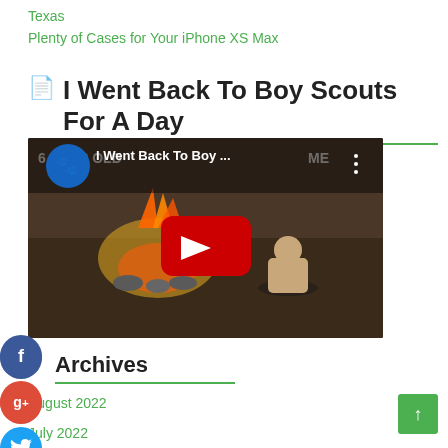Texas
Plenty of Cases for Your iPhone XS Max
I Went Back To Boy Scouts For A Day
[Figure (screenshot): YouTube video embed thumbnail showing a person sitting by a campfire in a forest. The video title reads 'I Went Back To Boy Scouts For A Day'. Text on background image reads '6 YEAR OLD' on the left and 'ME' on the right. A YouTube play button (red circle with white triangle) is centered. A channel logo (blue circle with panther) is in the top left of the video.]
Archives
August 2022
July 2022